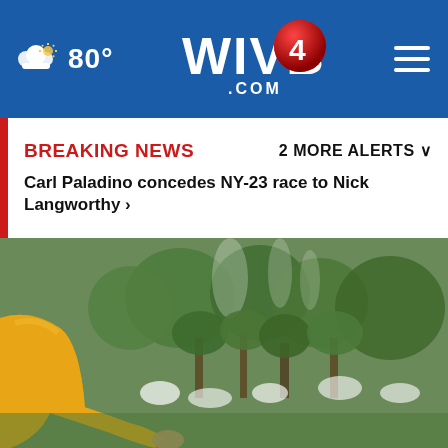80° WIVB4.COM
BREAKING NEWS   2 MORE ALERTS
Carl Paladino concedes NY-23 race to Nick Langworthy ›
[Figure (photo): Person in yellow jacket in a garden setting with trees and white flowers, mist in background]